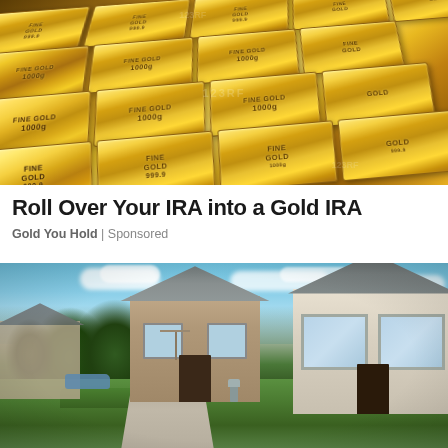[Figure (photo): Stack of gold bullion bars with 'FINE GOLD 1000g' engravings, shiny golden color, watermarked stock photo]
Roll Over Your IRA into a Gold IRA
Gold You Hold | Sponsored
[Figure (photo): Suburban residential street with single-story brick and white-sided houses, manicured landscaping, clear sky, and a paved driveway]